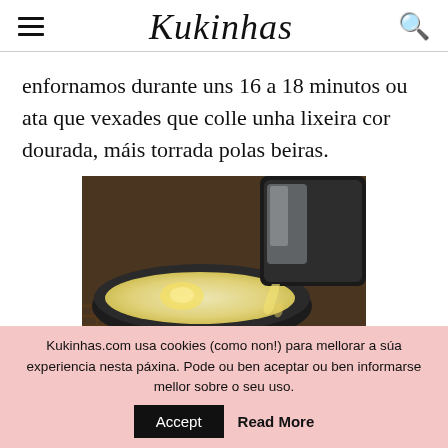Kukinhas
enfornamos durante uns 16 a 18 minutos ou ata que vexades que colle unha lixeira cor dourada, máis torrada polas beiras.
[Figure (photo): A photo showing batter or liquid being poured from a dark pan into a skillet on a cooking grate, with a creamy yellow mixture in the pan.]
Kukinhas.com usa cookies (como non!) para mellorar a súa experiencia nesta páxina. Pode ou ben aceptar ou ben informarse mellor sobre o seu uso.